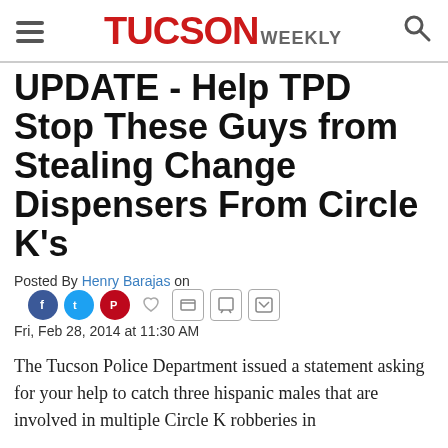TUCSON WEEKLY
UPDATE - Help TPD Stop These Guys from Stealing Change Dispensers From Circle K's
Posted By Henry Barajas on Fri, Feb 28, 2014 at 11:30 AM
The Tucson Police Department issued a statement asking for your help to catch three hispanic males that are involved in multiple Circle K robberies in